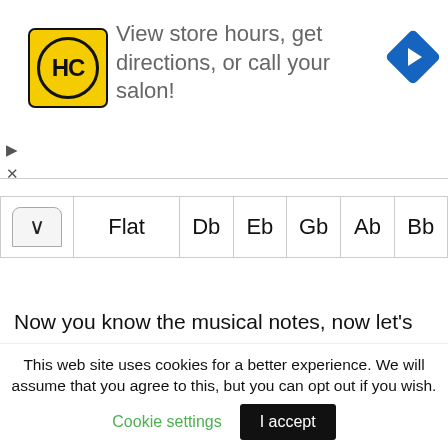[Figure (other): Advertisement banner for a hair salon chain with HC logo (yellow square with HC text in circle), text 'View store hours, get directions, or call your salon!', and a blue navigation arrow icon. Also shows play and close controls.]
|  | Flat | Db | Eb | Gb | Ab | Bb |
| --- | --- | --- | --- | --- | --- | --- |
| ^ | Flat | Db | Eb | Gb | Ab | Bb |
Now you know the musical notes, now let's learn to place them on the guitar fretboard.
[Figure (other): Yellow advertisement placeholder block]
This web site uses cookies for a better experience. We will assume that you agree to this, but you can opt out if you wish. Cookie settings  I accept